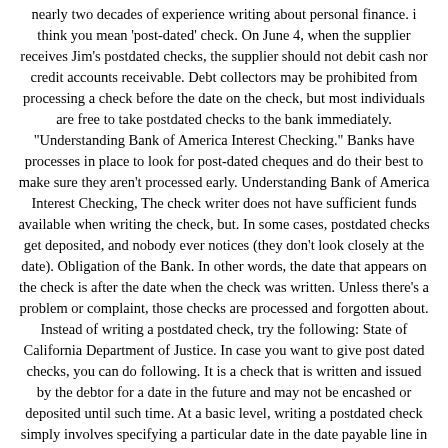nearly two decades of experience writing about personal finance. i think you mean 'post-dated' check. On June 4, when the supplier receives Jim's postdated checks, the supplier should not debit cash nor credit accounts receivable. Debt collectors may be prohibited from processing a check before the date on the check, but most individuals are free to take postdated checks to the bank immediately. "Understanding Bank of America Interest Checking." Banks have processes in place to look for post-dated cheques and do their best to make sure they aren't processed early. Understanding Bank of America Interest Checking, The check writer does not have sufficient funds available when writing the check, but. In some cases, postdated checks get deposited, and nobody ever notices (they don't look closely at the date). Obligation of the Bank. In other words, the date that appears on the check is after the date when the check was written. Unless there's a problem or complaint, those checks are processed and forgotten about. Instead of writing a postdated check, try the following: State of California Department of Justice. In case you want to give post dated checks, you can do following. It is a check that is written and issued by the debtor for a date in the future and may not be encashed or deposited until such time. At a basic level, writing a postdated check simply involves specifying a particular date in the date payable line in the upper-right corner. Applying a metered time stamp to get a postmark before midnight and then delivering the letter to a post office at a later date is … Jim assures the